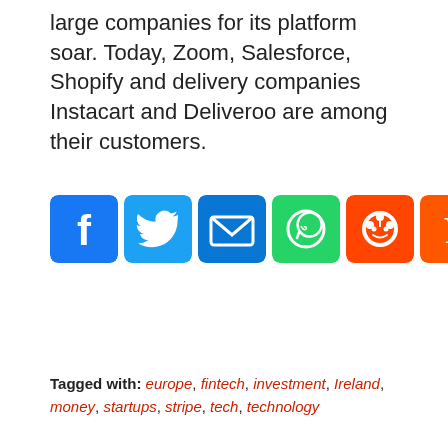large companies for its platform soar. Today, Zoom, Salesforce, Shopify and delivery companies Instacart and Deliveroo are among their customers.
[Figure (infographic): A row of nine social sharing buttons: Facebook (blue), Twitter (blue), Email (dark blue), WhatsApp (green), Reddit (orange-red), Yahoo (orange), Messenger (light blue), Telegram (cyan-blue), Share/More (blue).]
Tagged with: europe, fintech, investment, Ireland, money, startups, stripe, tech, technology